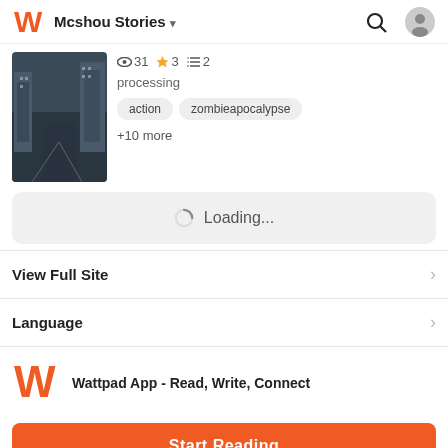Mcshou Stories
[Figure (photo): Dark urban city street scene with buildings]
31 views · 3 stars · 2 lists
processing
action
zombieapocalypse
+10 more
Loading...
View Full Site
Language
[Figure (logo): Wattpad W logo in orange]
Wattpad App - Read, Write, Connect
Start Reading
Log in with Browser